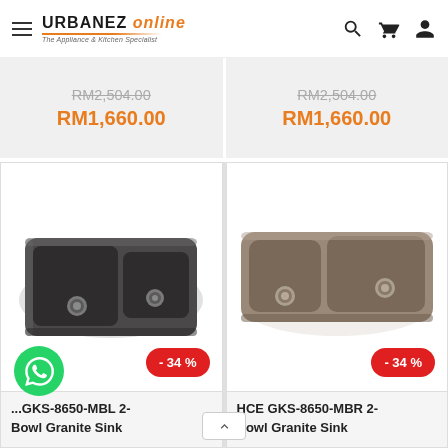URBANEZ online — The Appliance & Kitchen Specialist
RM2,504.00 RM1,660.00 | RM2,504.00 RM1,660.00
[Figure (photo): Dark gray/black granite double bowl kitchen sink (HCE GKS-8650-MBL), with -34% discount badge]
[Figure (photo): Brown/mocha granite double bowl kitchen sink (HCE GKS-8650-MBR), with -34% discount badge]
HCE GKS-8650-MBL 2-Bowl Granite Sink
HCE GKS-8650-MBR 2-Bowl Granite Sink